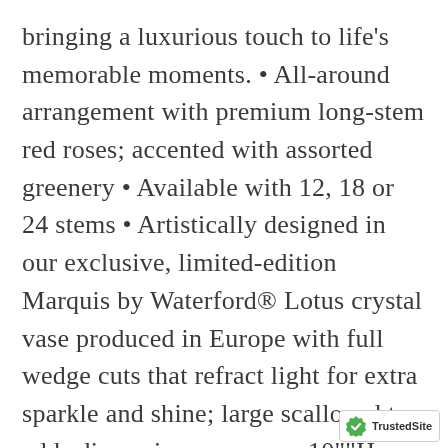bringing a luxurious touch to life's memorable moments. • All-around arrangement with premium long-stem red roses; accented with assorted greenery • Available with 12, 18 or 24 stems • Artistically designed in our exclusive, limited-edition Marquis by Waterford® Lotus crystal vase produced in Europe with full wedge cuts that refract light for extra sparkle and shine; large scalloped top adds dimension; measures 10""H • Large arrangement of 24 roses measures approximately 22""H x 16""W • Medium arrangement of 18 roses measures approximately 20""H x 14""W • Small arrangement of 12 roses measure
[Figure (logo): TrustedSite badge with green checkmark shield icon and 'TrustedSite' text]